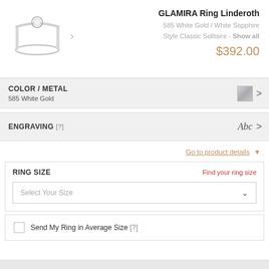GLAMIRA Ring Linderoth
585 White Gold / White Sapphire
Style Classic Solitaire - Show all
$392.00
COLOR / METAL
585 White Gold
ENGRAVING [?]
Abc
Go to product details
RING SIZE
Find your ring size
Select Your Size
Send My Ring in Average Size [?]